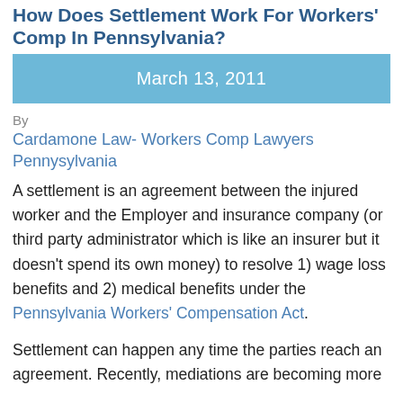How Does Settlement Work For Workers' Comp In Pennsylvania?
March 13, 2011
By
Cardamone Law- Workers Comp Lawyers Pennysylvania
A settlement is an agreement between the injured worker and the Employer and insurance company (or third party administrator which is like an insurer but it doesn't spend its own money) to resolve 1) wage loss benefits and 2) medical benefits under the Pennsylvania Workers' Compensation Act.
Settlement can happen any time the parties reach an agreement. Recently, mediations are becoming more